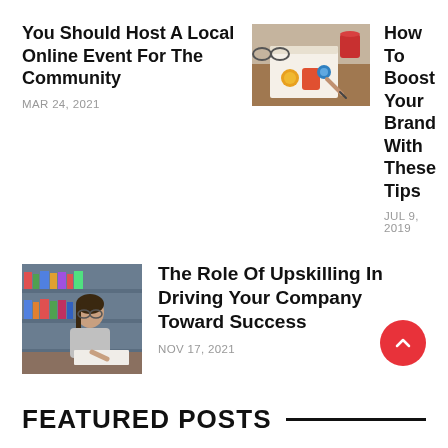You Should Host A Local Online Event For The Community
MAR 24, 2021
[Figure (photo): A flat-lay photo showing a branding sketchbook with colorful doodles, glasses, a red cup, and a hand writing]
How To Boost Your Brand With These Tips
JUL 9, 2019
[Figure (photo): A young woman with glasses studying or writing in a library with bookshelves in the background]
The Role Of Upskilling In Driving Your Company Toward Success
NOV 17, 2021
FEATURED POSTS